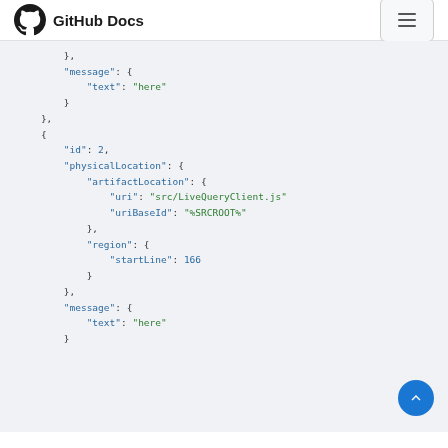GitHub Docs
},
"message": {
    "text": "here"
}
},
{
    "id": 2,
    "physicalLocation": {
        "artifactLocation": {
            "uri": "src/LiveQueryClient.js"
            "uriBaseId": "%SRCROOT%"
        },
        "region": {
            "startLine": 166
        }
    },
    "message": {
        "text": "here"
    }
}